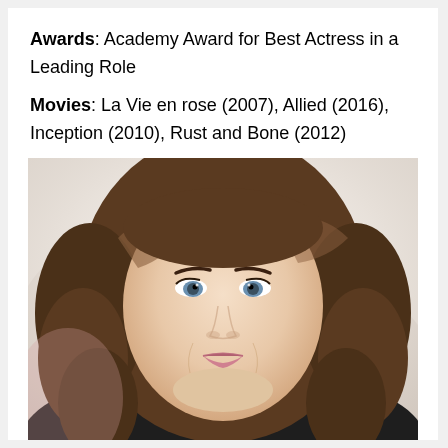Awards: Academy Award for Best Actress in a Leading Role
Movies: La Vie en rose (2007), Allied (2016), Inception (2010), Rust and Bone (2012)
[Figure (photo): Portrait photo of a young woman with wavy brown shoulder-length hair, blue eyes, and a slight smile, wearing a dark top. Background is blurred white/light.]